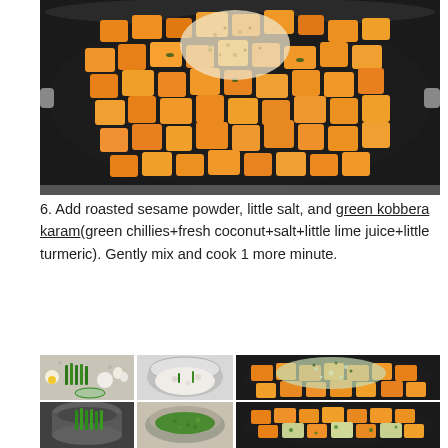[Figure (photo): A cast iron skillet on a stovetop filled with cubed roasted butternut squash (orange/yellow pieces) topped with roasted sesame powder and other spices, viewed from above.]
6. Add roasted sesame powder, little salt, and green kobbera karam(green chillies+fresh coconut+salt+little lime juice+little turmeric). Gently mix and cook 1 more minute.
[Figure (photo): A 2x2 grid of photos showing ingredients and preparation steps for green kobbera karam: top-left shows green chilies and other ingredients on a granite countertop, top-right shows coconut in a blender bowl, bottom-left shows green chilies in a mortar, bottom-right shows the blended green mixture.]
[Figure (photo): Two photos stacked vertically on the right side: top shows the skillet with butternut squash after adding the green kobbera karam mixture on top, bottom shows the final dish after mixing.]